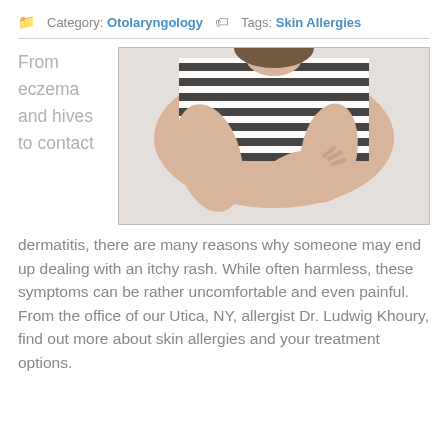Category: Otolaryngology   Tags: Skin Allergies
[Figure (photo): Person in black and white striped shirt scratching their arm/elbow area, suggesting skin irritation or allergy symptoms.]
From eczema and hives to contact
dermatitis, there are many reasons why someone may end up dealing with an itchy rash. While often harmless, these symptoms can be rather uncomfortable and even painful. From the office of our Utica, NY, allergist Dr. Ludwig Khoury, find out more about skin allergies and your treatment options.